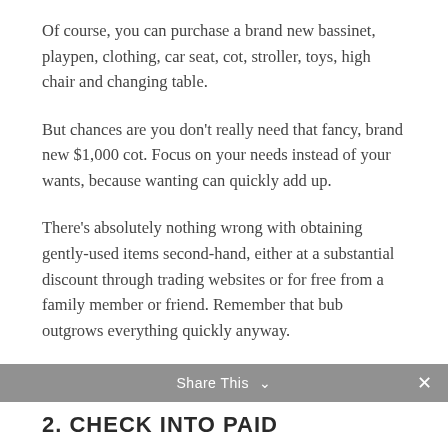Of course, you can purchase a brand new bassinet, playpen, clothing, car seat, cot, stroller, toys, high chair and changing table.
But chances are you don't really need that fancy, brand new $1,000 cot. Focus on your needs instead of your wants, because wanting can quickly add up.
There's absolutely nothing wrong with obtaining gently-used items second-hand, either at a substantial discount through trading websites or for free from a family member or friend. Remember that bub outgrows everything quickly anyway.
Share This ∨  ×
2. CHECK INTO PAID